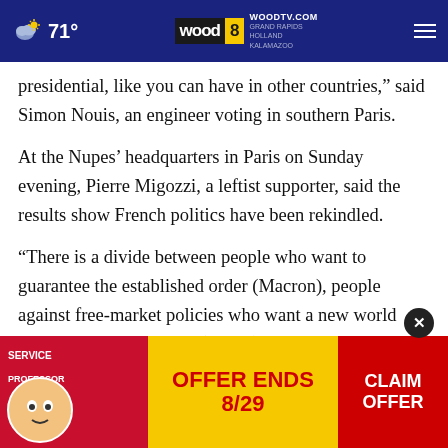71° | WOODTV.COM WOOD 8 GRAND RAPIDS HOLLAND KALAMAZOO
presidential, like you can have in other countries,” said Simon Nouis, an engineer voting in southern Paris.
At the Nupes’ headquarters in Paris on Sunday evening, Pierre Migozzi, a leftist supporter, said the results show French politics have been rekindled.
“There is a divide between people who want to guarantee the established order (Macron), people against free-market policies who want a new world turned toward the youth (Nupes), and people who recogni… the… in the National Poll… to of being…
[Figure (other): Advertisement banner: Service Professor mascot on red background on the left, yellow center reading OFFER ENDS 8/29, red right panel reading CLAIM OFFER]